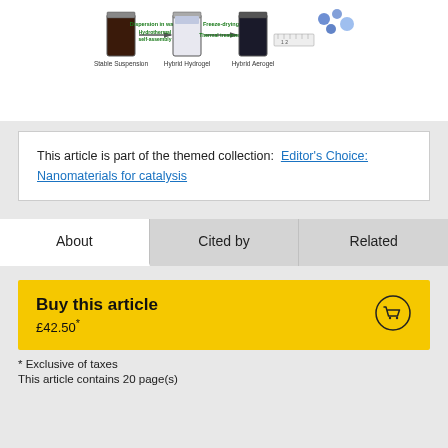[Figure (illustration): Diagram showing synthesis process: Stable Suspension → (Dispersion in water, Hydrothermal self-assembly) → Hybrid Hydrogel → (Freeze-drying, Thermal treatment) → Hybrid Aerogel. Images show vials and a ruler.]
This article is part of the themed collection: Editor's Choice: Nanomaterials for catalysis
About | Cited by | Related (tabs)
Buy this article
£42.50*
* Exclusive of taxes
This article contains 20 page(s)